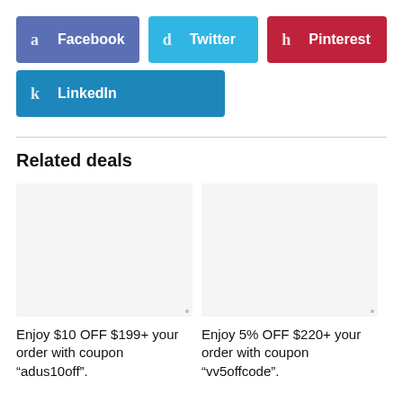[Figure (other): Social share buttons: Facebook (blue-purple), Twitter (light blue), Pinterest (red), LinkedIn (blue)]
Related deals
[Figure (other): Placeholder image for deal 1]
Enjoy $10 OFF $199+ your order with coupon “adus10off”.
[Figure (other): Placeholder image for deal 2]
Enjoy 5% OFF $220+ your order with coupon “vv5offcode”.